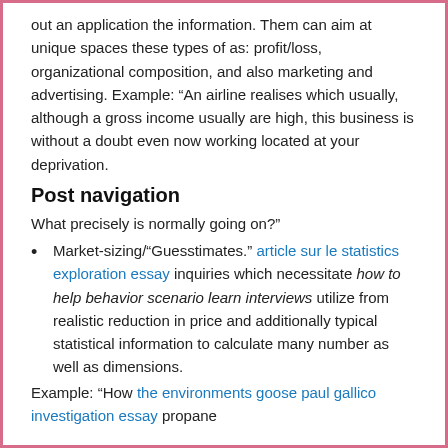out an application the information. Them can aim at unique spaces these types of as: profit/loss, organizational composition, and also marketing and advertising. Example: “An airline realises which usually, although a gross income usually are high, this business is without a doubt even now working located at your deprivation.
Post navigation
What precisely is normally going on?”
Market-sizing/“Guesstimates.” article sur le statistics exploration essay inquiries which necessitate how to help behavior scenario learn interviews utilize from realistic reduction in price and additionally typical statistical information to calculate many number as well as dimensions.
Example: “How the environments goose paul gallico investigation essay propane